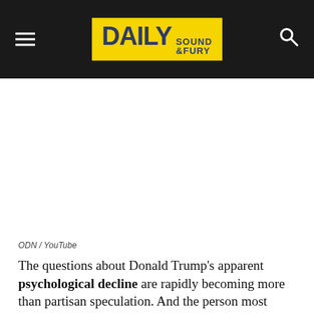DAILY SOUND & FURY
ODN / YouTube
The questions about Donald Trump's apparent psychological decline are rapidly becoming more than partisan speculation. And the person most